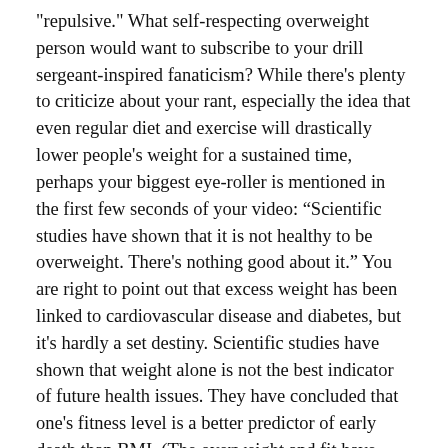"repulsive." What self-respecting overweight person would want to subscribe to your drill sergeant-inspired fanaticism? While there's plenty to criticize about your rant, especially the idea that even regular diet and exercise will drastically lower people's weight for a sustained time, perhaps your biggest eye-roller is mentioned in the first few seconds of your video: “Scientific studies have shown that it is not healthy to be overweight. There's nothing good about it.” You are right to point out that excess weight has been linked to cardiovascular disease and diabetes, but it's hardly a set destiny. Scientific studies have shown that weight alone is not the best indicator of future health issues. They have concluded that one's fitness level is a better predictor of early death than BMI. (The overweight and fit have similar mortality rates to the thin and fit.)
You seem to infer that exercise will make you thinner and that overweight people are not working out